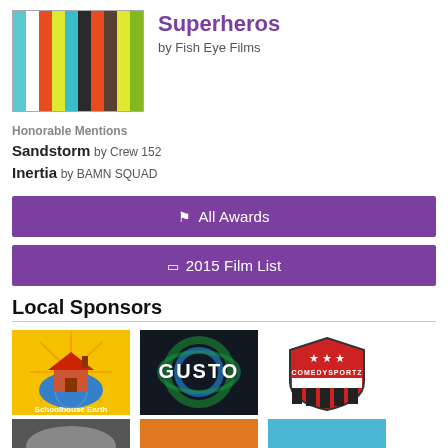[Figure (illustration): Color bars thumbnail image with vertical stripes of blue, white, orange, yellow, teal, dark gray/black, brown, lime green]
Superheros
by Fish Eye Films
Honorable Mentions
Sandstorm by Crew 152
Inertia by BAMN SQUAD
All Awards
2015 Film List
Local Sponsors
[Figure (logo): Schoolhouse Earth logo - colorful illustration with school house on globe, sun rays background]
[Figure (logo): GUSTO logo - dark background with swirling green and blue design]
[Figure (logo): ComedySportz logo - shield shape with stars, red/white/blue colors]